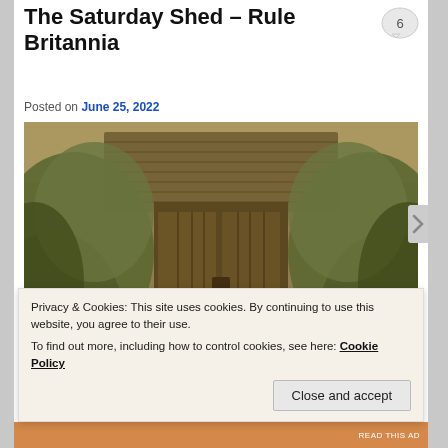The Saturday Shed – Rule Britannia
Posted on June 25, 2022
[Figure (photo): Sepia-toned photograph of an old wooden shed door covered in overgrown vines and foliage, with a wooden plank roof visible above.]
Privacy & Cookies: This site uses cookies. By continuing to use this website, you agree to their use.
To find out more, including how to control cookies, see here: Cookie Policy
Close and accept